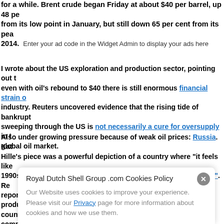for a while. Brent crude began Friday at about $40 per barrel, up 48 per cent from its low point in January, but still down 65 per cent from its peak in 2014.    Enter your ad code in the Widget Admin to display your ads here
I wrote about the US exploration and production sector, pointing out that even with oil's rebound to $40 there is still enormous financial strain on the industry. Reuters uncovered evidence that the rising tide of bankruptcies sweeping through the US is not necessarily a cure for oversupply in the global oil market.
Also under growing pressure because of weak oil prices: Russia. Katrina Hille's piece was a powerful depiction of a country where "it feels like the 1990s again". Russia sees an oil price of $45-$50 as "acceptable", Reuters reported, but it is still unclear whether it and the other oil-producing countries meeting in Qatar on April 17 will actually make the commitments on output needed to push crude to that level.
Royal Dutch Shell Group .com Cookies Policy
Our Website uses cookies to improve your experience. Please visit our Privacy page for more information about cookies and how we use them.